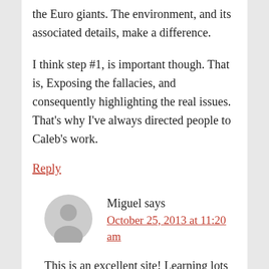the Euro giants. The environment, and its associated details, make a difference.
I think step #1, is important though. That is, Exposing the fallacies, and consequently highlighting the real issues. That’s why I’ve always directed people to Caleb’s work.
Reply
Miguel says
October 25, 2013 at 11:20 am
This is an excellent site! Learning lots for many months now